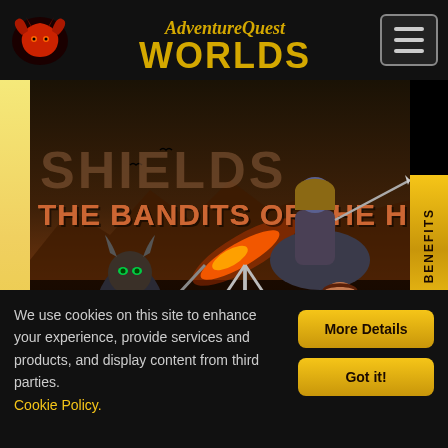AdventureQuest Worlds
[Figure (illustration): Fantasy game banner showing 'THE BANDITS OF THE HEATH' with multiple armored fantasy characters against a dark apocalyptic landscape with a comet in the sky. Characters include warriors and rogues in dark armor.]
[Figure (other): Vertical gold membership benefits sidebar tab with text 'MEMBERSHIP BENEFITS' rotated vertically]
We use cookies on this site to enhance your experience, provide services and products, and display content from third parties. Cookie Policy.